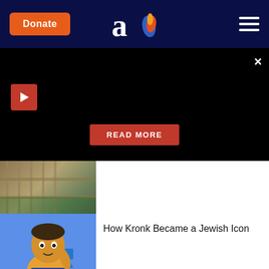Aish - Donate button and navigation header
[Figure (screenshot): Dark video/media panel with play button, close button (×), and READ MORE button]
[Figure (photo): Thumbnail image showing fence scene (The Boy in the Striped Pajamas style)]
[Figure (illustration): Cartoon illustration of Kronk character holding a dreidel]
How Kronk Became a Jewish Icon
[Figure (photo): Photo of a black car (Royal Deluxe II)]
Jtube: Saturday Night Live: A Bris in the Royal Deluxe II